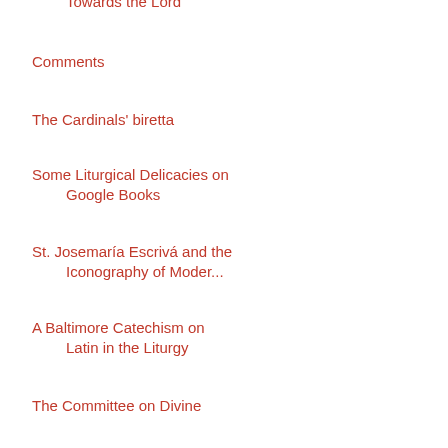Towards the Lord
Comments
The Cardinals' biretta
Some Liturgical Delicacies on Google Books
St. Josemaría Escrivá and the Iconography of Moder...
A Baltimore Catechism on Latin in the Liturgy
The Committee on Divine Worship
Explaining ad orientem to folks in the pews
Traditional Latin Mass at St. Mary's, Norwalk, CT
Falde
Fourth pilgrimage of Polish Traditionalists to Nat...